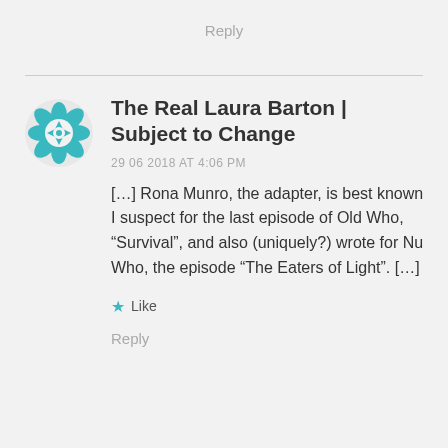Reply
[Figure (logo): Teal geometric floral/snowflake avatar icon]
The Real Laura Barton | Subject to Change
29 06 2018 AT 4:06 PM
[…] Rona Munro, the adapter, is best known I suspect for the last episode of Old Who, “Survival”, and also (uniquely?) wrote for Nu Who, the episode “The Eaters of Light”. […]
Like
Reply